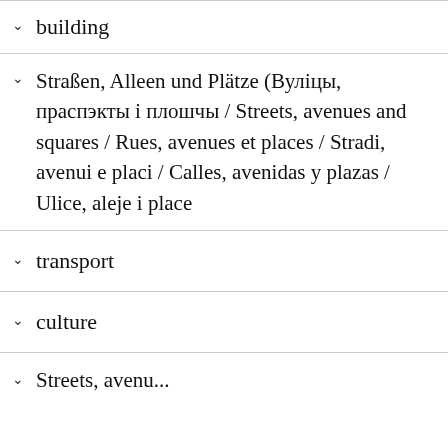building
Straßen, Alleen und Plätze (Вуліцы, праспэкты і плошчы / Streets, avenues and squares / Rues, avenues et places / Stradi, avenui e placi / Calles, avenidas y plazas / Ulice, aleje i place
transport
culture
Streets, avenues...